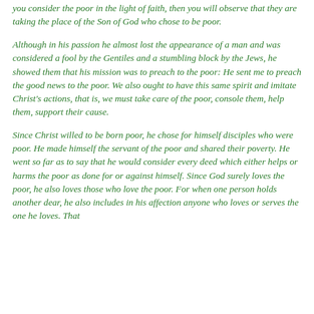you consider the poor in the light of faith, then you will observe that they are taking the place of the Son of God who chose to be poor.
Although in his passion he almost lost the appearance of a man and was considered a fool by the Gentiles and a stumbling block by the Jews, he showed them that his mission was to preach to the poor: He sent me to preach the good news to the poor. We also ought to have this same spirit and imitate Christ's actions, that is, we must take care of the poor, console them, help them, support their cause.
Since Christ willed to be born poor, he chose for himself disciples who were poor. He made himself the servant of the poor and shared their poverty. He went so far as to say that he would consider every deed which either helps or harms the poor as done for or against himself. Since God surely loves the poor, he also loves those who love the poor. For when one person holds another dear, he also includes in his affection anyone who loves or serves the one he loves. That